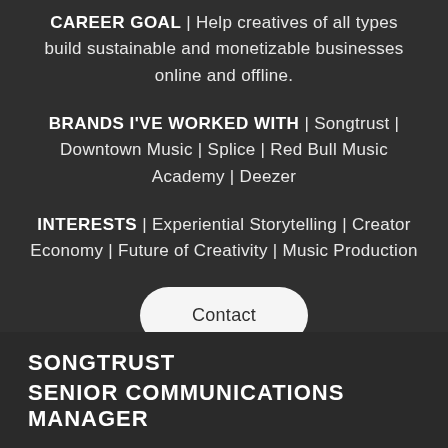CAREER GOAL | Help creatives of all types build sustainable and monetizable businesses online and offline.
BRANDS I'VE WORKED WITH | Songtrust | Downtown Music | Splice | Red Bull Music Academy | Deezer
INTERESTS | Experiential Storytelling | Creator Economy | Future of Creativity | Music Production
Contact
SONGTRUST
SENIOR COMMUNICATIONS MANAGER